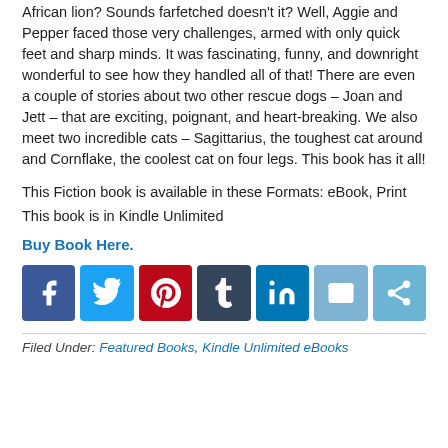African lion? Sounds farfetched doesn't it? Well, Aggie and Pepper faced those very challenges, armed with only quick feet and sharp minds. It was fascinating, funny, and downright wonderful to see how they handled all of that! There are even a couple of stories about two other rescue dogs – Joan and Jett – that are exciting, poignant, and heart-breaking. We also meet two incredible cats – Sagittarius, the toughest cat around and Cornflake, the coolest cat on four legs. This book has it all!
This Fiction book is available in these Formats: eBook, Print
This book is in Kindle Unlimited
Buy Book Here.
[Figure (infographic): Social media sharing icons: Facebook (blue), Twitter (blue), Pinterest (red), Tumblr (dark blue-grey), LinkedIn (blue), Email (light blue), More/Share (light blue)]
Filed Under: Featured Books, Kindle Unlimited eBooks